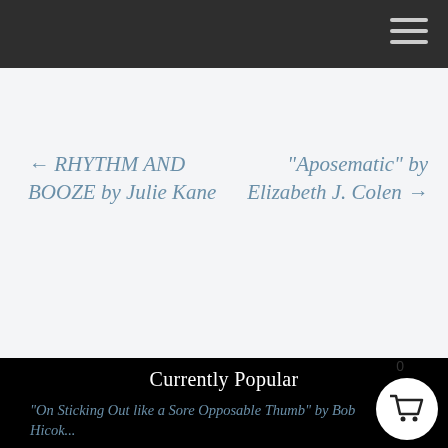← RHYTHM AND BOOZE by Julie Kane
“Aposematic” by Elizabeth J. Colen →
Currently Popular
“On Sticking Out like a Sore Opposable Thumb” by Bob Hicok...